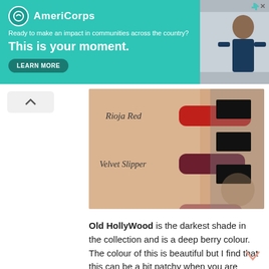[Figure (infographic): AmeriCorps advertisement banner with teal background. Logo, tagline 'Ready to make an impact in communities across the country?', headline 'This is your moment.', and LEARN MORE button. Right side shows a photo of a person.]
[Figure (photo): Lipstick swatches on an arm showing three shades labeled: Rioja Red (bright red), Velvet Slipper (deep berry/dark red), Birthday Suit (muted mauve/nude). Right side shows product packaging.]
Old HollyWood is the darkest shade in the collection and is a deep berry colour. The colour of this is beautiful but I find that this can be a bit patchy when you are trying to apply onto your lips, therefore, I always have to swipe over once again when I am done creating the outline. This colour stains the lips and whatever you use to remove the lipstick it gets everywhere so be prepared when it goes